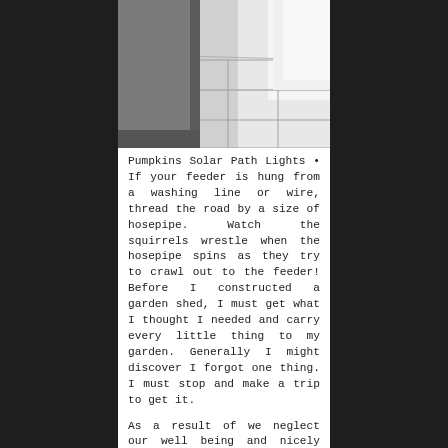[Figure (photo): Interior photo showing white floor tiles near a doorway or cabinet, with light coming through]
Pumpkins Solar Path Lights • If your feeder is hung from a washing line or wire, thread the road by a size of hosepipe. Watch the squirrels wrestle when the hosepipe spins as they try to crawl out to the feeder! Before I constructed a garden shed, I must get what I thought I needed and carry every little thing to my garden. Generally I might discover I forgot one thing. I must stop and make a trip to get it.
As a result of we neglect our well being and nicely being